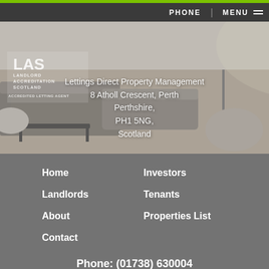PHONE | MENU
[Figure (photo): Interior room with grey sofas, coffee table, wooden floor; LAS Landlord Accreditation Scotland logo overlaid on left; address text overlaid in center]
Lettings Direct Property Management
8 Atholl Crescent, Perth
Perthshire,
PH1 5NG,
Scotland
Home
Investors
Landlords
Tenants
About
Properties List
Contact
Phone: (01738) 630004
Find Us on Google+
Lettings Direct (Perth Ltd) - LARN1908013